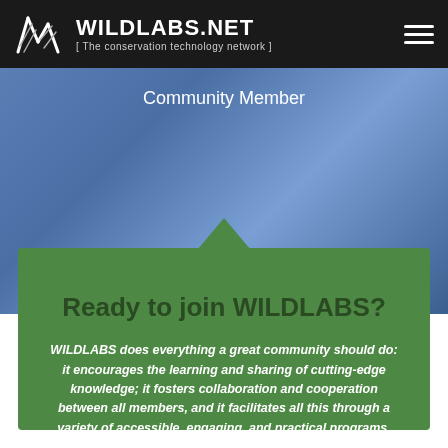WILDLABS.NET [ The conservation technology network ]
Community Member
Ready to join WILDLABS?
WILDLABS does everything a great community should do: it encourages the learning and sharing of cutting-edge knowledge; it fosters collaboration and cooperation between all members, and it facilitates all this through a variety of accessible, engaging, and practical programs. Join us today to be part of the experience!
CREATE AN ACCOUNT HERE →